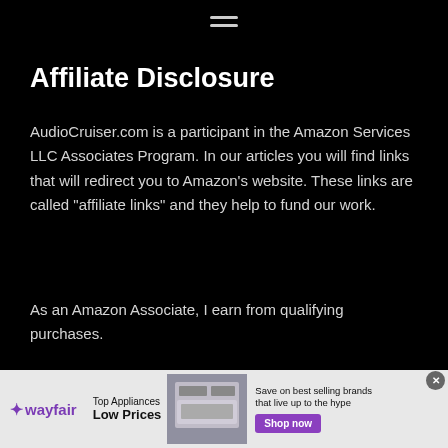≡
Affiliate Disclosure
AudioCruiser.com is a participant in the Amazon Services LLC Associates Program. In our articles you will find links that will redirect you to Amazon's website. These links are called "affiliate links" and they help to fund our work.
As an Amazon Associate, I earn from qualifying purchases.
[Figure (screenshot): Wayfair advertisement banner: logo with purple star, 'Top Appliances Low Prices' text, image of a stove/range appliance, and 'Shop now' purple button with text 'Save on best selling brands that live up to the hype']